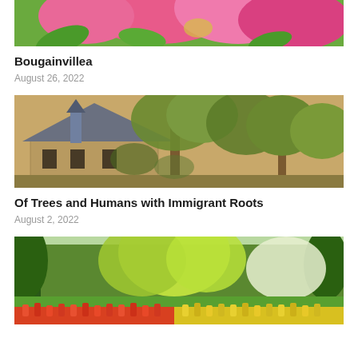[Figure (photo): Close-up of pink bougainvillea flowers with green leaves, cropped at top of page]
Bougainvillea
August 26, 2022
[Figure (photo): Impressionist-style painting of a stone farmhouse with large trees, reminiscent of Monet]
Of Trees and Humans with Immigrant Roots
August 2, 2022
[Figure (photo): Lush garden park with tall green trees and colorful tulip beds in red, orange and yellow]